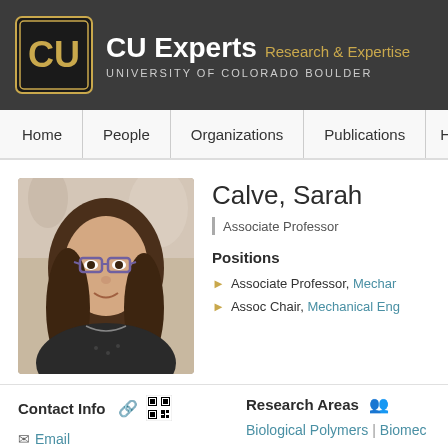CU Experts — Research & Expertise — University of Colorado Boulder
Home | People | Organizations | Publications | Honor
[Figure (photo): Headshot photo of Sarah Calve, a woman with long brown wavy hair and glasses, smiling, in a lab setting]
Calve, Sarah
Associate Professor
Positions
Associate Professor, Mechanical Engineering (link)
Assoc Chair, Mechanical Engineering (link)
Contact Info
Email
Research Areas
Biological Polymers | Biomec...